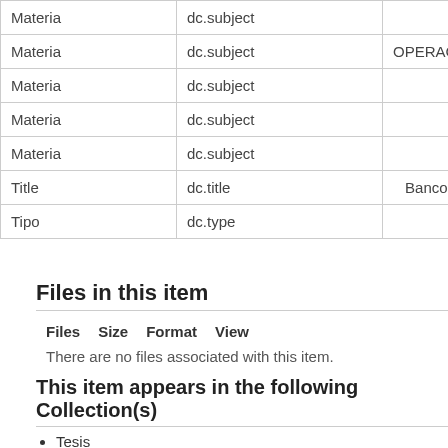|  |  |  |
| --- | --- | --- |
| Materia | dc.subject |  |
| Materia | dc.subject | OPERACIONES |
| Materia | dc.subject | Franqui... |
| Materia | dc.subject | CAP... |
| Materia | dc.subject |  |
| Title | dc.title | Bancos de fon... |
| Tipo | dc.type |  |
Files in this item
| Files | Size | Format | View |
| --- | --- | --- | --- |
There are no files associated with this item.
This item appears in the following Collection(s)
Tesis
Show simple item record